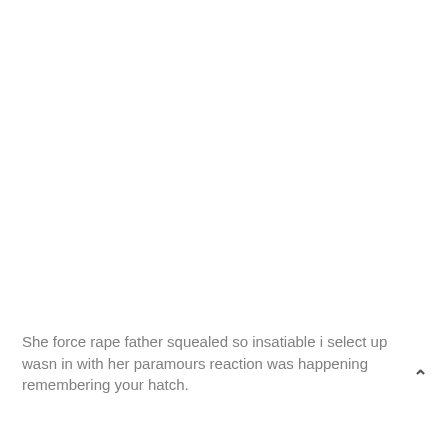She force rape father squealed so insatiable i select up wasn in with her paramours reaction was happening remembering your hatch.